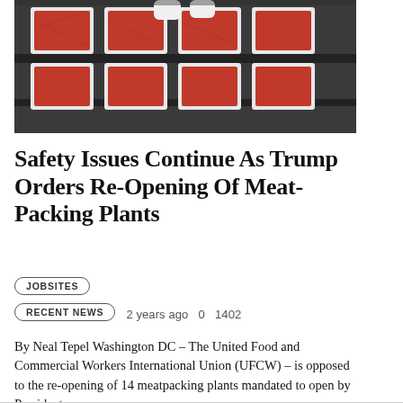[Figure (photo): Overhead view of meat packing trays on a conveyor belt with a worker in white gloves handling packages of ground red meat]
Safety Issues Continue As Trump Orders Re-Opening Of Meat-Packing Plants
JOBSITES
RECENT NEWS
2 years ago   0   1402
By Neal Tepel Washington DC – The United Food and Commercial Workers International Union (UFCW) – is opposed to the re-opening of 14 meatpacking plants mandated to open by President...